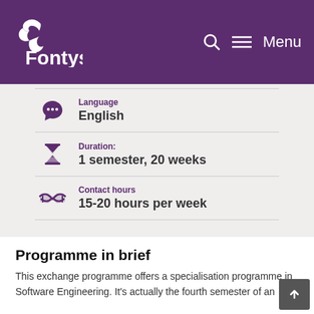Fontys
Language
English
Duration:
1 semester, 20 weeks
Contact hours
15-20 hours per week
Programme in brief
This exchange programme offers a specialisation programme in Software Engineering. It's actually the fourth semester of an